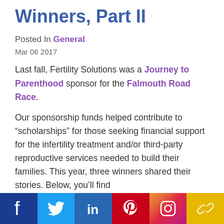Winners, Part II
Posted In General
Mar 06 2017
Last fall, Fertility Solutions was a Journey to Parenthood sponsor for the Falmouth Road Race.
Our sponsorship funds helped contribute to “scholarships” for those seeking financial support for the infertility treatment and/or third-party reproductive services needed to build their families. This year, three winners shared their stories. Below, you’ll find
[Figure (infographic): Social media share bar with icons for Facebook, Twitter, LinkedIn, Pinterest, Instagram, and a chain/link icon on colored backgrounds]